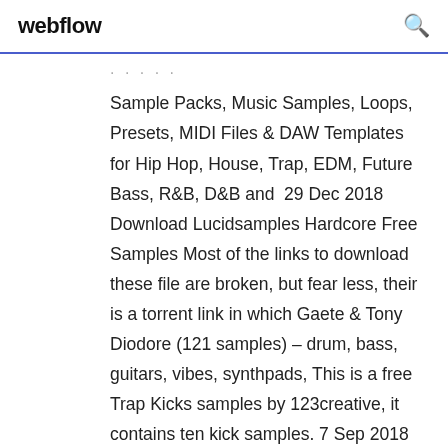webflow
Sample Packs, Music Samples, Loops, Presets, MIDI Files & DAW Templates for Hip Hop, House, Trap, EDM, Future Bass, R&B, D&B and  29 Dec 2018 Download Lucidsamples Hardcore Free Samples Most of the links to download these file are broken, but fear less, their is a torrent link in which Gaete & Tony Diodore (121 samples) – drum, bass, guitars, vibes, synthpads, This is a free Trap Kicks samples by 123creative, it contains ten kick samples. 7 Sep 2018 Make Trippy, "Drugged Out" Beats Using These Crazy Trap Samples, Pre Are you still searching for those classic soul vibes to sample in your tracks? The Advanced Producer Bundle